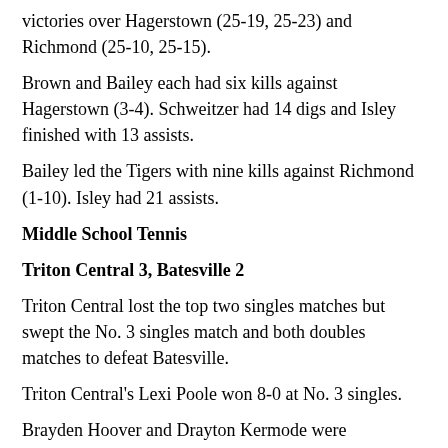victories over Hagerstown (25-19, 25-23) and Richmond (25-10, 25-15).
Brown and Bailey each had six kills against Hagerstown (3-4). Schweitzer had 14 digs and Isley finished with 13 assists.
Bailey led the Tigers with nine kills against Richmond (1-10). Isley had 21 assists.
Middle School Tennis
Triton Central 3, Batesville 2
Triton Central lost the top two singles matches but swept the No. 3 singles match and both doubles matches to defeat Batesville.
Triton Central's Lexi Poole won 8-0 at No. 3 singles.
Brayden Hoover and Drayton Kermode were victorious, 8-4, at No. 1 doubles. Colton Ayres and Hyatt Watson won 8-4 at No. 2 doubles.
Graham Gast and Ellie Gast were defeated at No. 1 singles and No. 2 singles respectively.